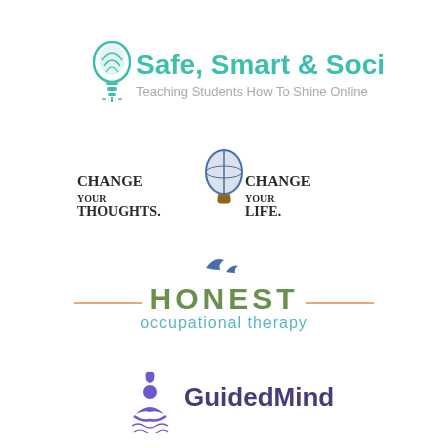[Figure (logo): Safe, Smart & Social logo — teal lightbulb icon with text 'Safe, Smart & Social' in teal and subtitle 'Teaching Students How To Shine Online' in gray]
[Figure (logo): Change Your Thoughts Change Your Life logo — hot air balloon icon with bold serif text]
[Figure (logo): Honest Occupational Therapy logo — two birds silhouette above 'HONEST' in olive/green with orange dashes and 'occupational therapy' in teal below]
[Figure (logo): GuidedMind logo — purple meditation figure icon with 'GuidedMind' text in purple/dark tone]